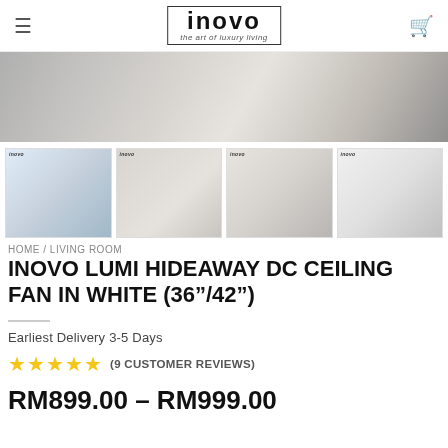INOVO — the art of luxury living
[Figure (photo): Hero banner image showing a modern interior surface/table with blurred motion effect in greyscale tones]
[Figure (photo): Four product thumbnails showing the INOVO LUMI HIDEAWAY DC Ceiling Fan in white from various angles, including room settings and feature callouts]
HOME / LIVING ROOM
INOVO LUMI HIDEAWAY DC CEILING FAN IN WHITE (36"/42")
Earliest Delivery 3-5 Days
★★★★★ (9 CUSTOMER REVIEWS)
RM899.00 – RM999.00